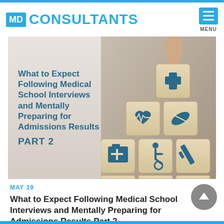MD CONSULTANTS
[Figure (photo): Hero banner image showing wooden blocks stacked in a pyramid shape, each block printed with medical icons (cross, heart, pill, wheelchair, syringe, stethoscope, blood drop, bandage). Text overlay reads: What to Expect Following Medical School Interviews and Mentally Preparing for Admissions Results PART 2]
MAY 19
What to Expect Following Medical School Interviews and Mentally Preparing for Admissions Results Part 2